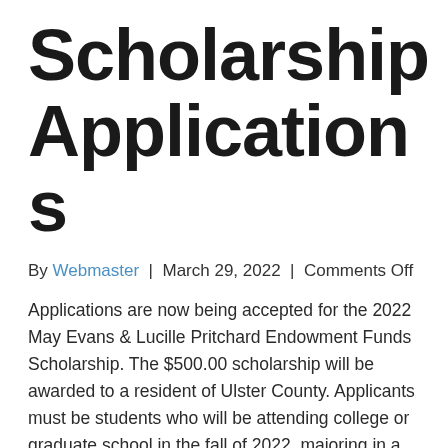Scholarship Applications
By Webmaster | March 29, 2022 | Comments Off
Applications are now being accepted for the 2022 May Evans & Lucille Pritchard Endowment Funds Scholarship. The $500.00 scholarship will be awarded to a resident of Ulster County. Applicants must be students who will be attending college or graduate school in the fall of 2022, majoring in a mental health related